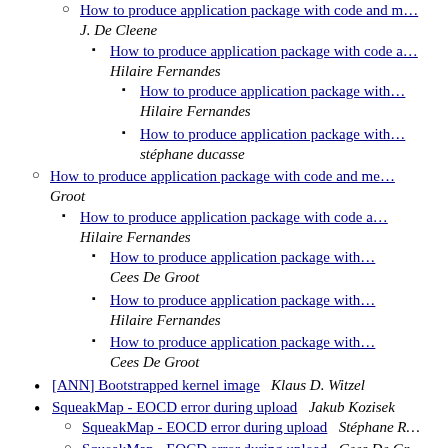How to produce application package with code and ... J. De Cleene
How to produce application package with code a... Hilaire Fernandes
How to produce application package with... Hilaire Fernandes
How to produce application package with... stéphane ducasse
How to produce application package with code and me... Groot
How to produce application package with code a... Hilaire Fernandes
How to produce application package with... Cees De Groot
How to produce application package with... Hilaire Fernandes
How to produce application package with... Cees De Groot
[ANN] Bootstrapped kernel image  Klaus D. Witzel
SqueakMap - EOCD error during upload  Jakub Kozisek
SqueakMap - EOCD error during upload  Stéphane R
SqueakMap - EOCD error during upload  Cees De Gr...
SqueakMap - EOCD error during upload  goran...
SqueakMap - EOCD error during upload
SqueakMap - EOCD error during upload
krampe se